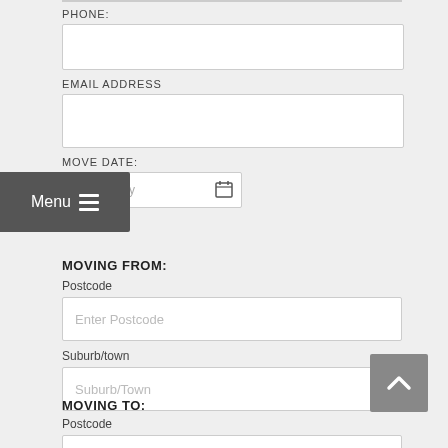PHONE:
[Figure (other): Empty phone input field]
EMAIL ADDRESS
[Figure (other): Empty email address input field]
MOVE DATE:
[Figure (other): Date input field showing mm/dd/yyyy placeholder with calendar icon]
MOVING FROM:
Postcode
[Figure (other): Input field with placeholder text 'Enter Postcode']
Suburb/town
[Figure (other): Input field with placeholder text 'Suburb/Town']
MOVING TO:
Postcode
[Figure (other): Input field with placeholder text 'Enter Postcode']